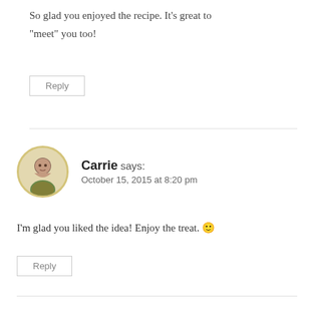So glad you enjoyed the recipe. It's great to “meet” you too!
Reply
Carrie says: October 15, 2015 at 8:20 pm
I’m glad you liked the idea! Enjoy the treat. 😊
Reply